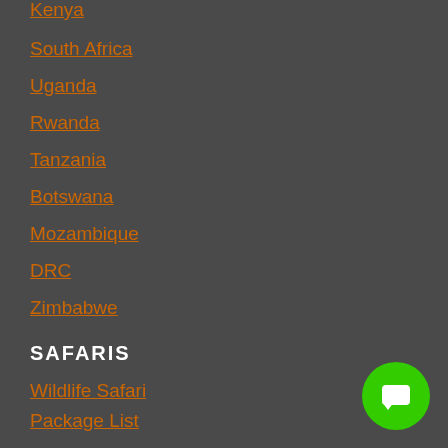Kenya
South Africa
Uganda
Rwanda
Tanzania
Botswana
Mozambique
DRC
Zimbabwe
SAFARIS
Wildlife Safari
Package List
Beach Holidays
Gorilla Safari
Adventure Travel
[Figure (illustration): Green circular chat/message button in bottom right corner]